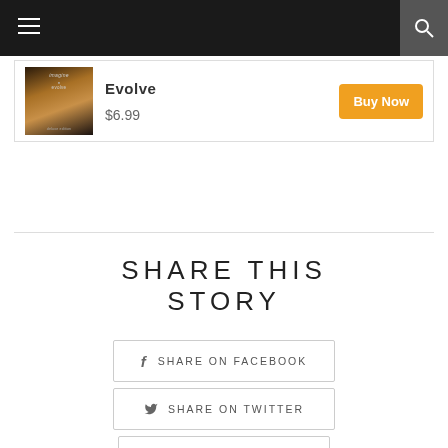Navigation bar with hamburger menu and search icon
[Figure (screenshot): Product card showing a music album cover (Evolve) with price $6.99 and Buy Now button]
Evolve
$6.99
Buy Now
SHARE THIS STORY
f  SHARE ON FACEBOOK
🐦  SHARE ON TWITTER
⊕  PIN THIS POST